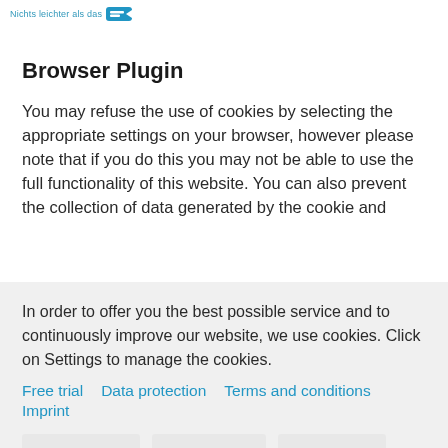[Figure (logo): Website logo with text 'Nichts leichter als das' and a blue icon/arrow shape]
Browser Plugin
You may refuse the use of cookies by selecting the appropriate settings on your browser, however please note that if you do this you may not be able to use the full functionality of this website. You can also prevent the collection of data generated by the cookie and
In order to offer you the best possible service and to continuously improve our website, we use cookies. Click on Settings to manage the cookies.
Free trial   Data protection   Terms and conditions
Imprint
Settings   Decline   Accept